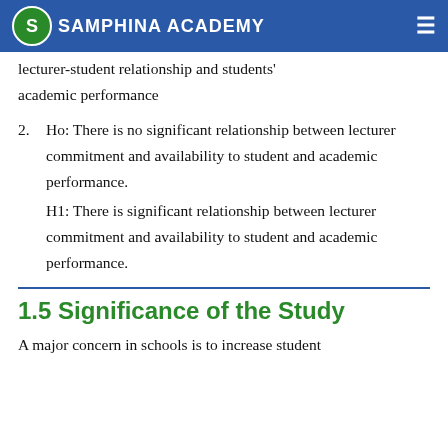SAMPHINA ACADEMY
H1: There is significant relationship between lecturer-student relationship and students' academic performance
2. Ho: There is no significant relationship between lecturer commitment and availability to student and academic performance.
H1: There is significant relationship between lecturer commitment and availability to student and academic performance.
1.5 Significance of the Study
A major concern in schools is to increase student